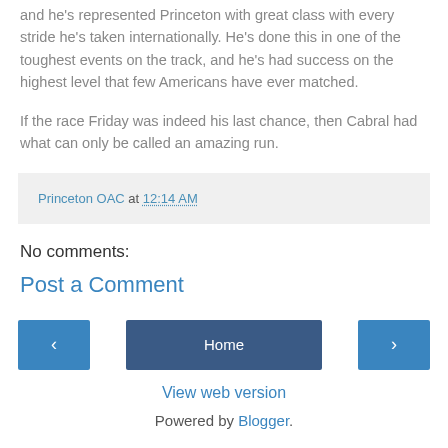and he's represented Princeton with great class with every stride he's taken internationally. He's done this in one of the toughest events on the track, and he's had success on the highest level that few Americans have ever matched.
If the race Friday was indeed his last chance, then Cabral had what can only be called an amazing run.
Princeton OAC at 12:14 AM
No comments:
Post a Comment
‹  Home  ›
View web version
Powered by Blogger.